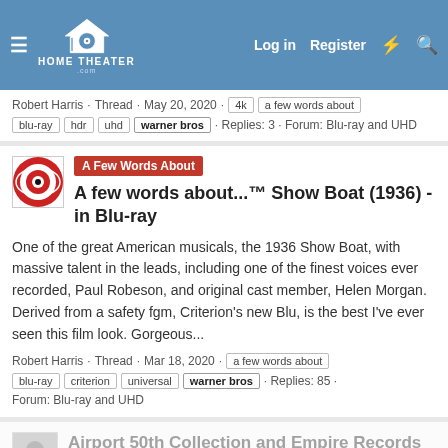Home Theater - Log in | Register
Robert Harris · Thread · May 20, 2020 · 4k · a few words about · blu-ray · hdr · uhd · warner bros · Replies: 3 · Forum: Blu-ray and UHD
A Few Words About A few words about...™ Show Boat (1936) - in Blu-ray
One of the great American musicals, the 1936 Show Boat, with massive talent in the leads, including one of the finest voices ever recorded, Paul Robeson, and original cast member, Helen Morgan. Derived from a safety fgm, Criterion's new Blu, is the best I've ever seen this film look. Gorgeous...
Robert Harris · Thread · Mar 18, 2020 · a few words about · blu-ray · criterion · universal · warner bros · Replies: 85 · Forum: Blu-ray and UHD
Airport 50th Collection and Empire Records 25th Anniversaries?
Decided to kill two birds here with this thread (dino tall DET/6...